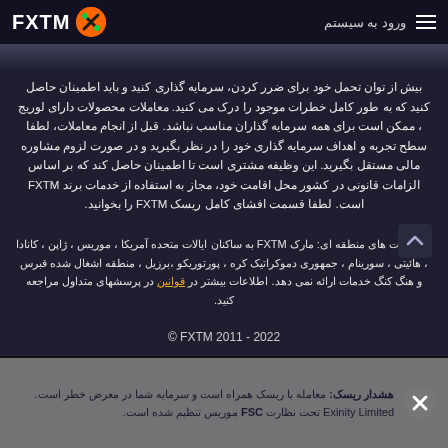ورود به سیستم | FXTM
بیش از توان تحمل خود برای ضرر کردن، سرمایه گذاری کنید و باید اطمینان حاصل کنید که به طور کامل خطرات موجود را درک می کنید. معاملات محصولات دارای لوریج ، ممکن است برای همه سرمایه گذاران مناسب نباشد. قبل از انجام معاملات، لطفا سطح تجربه و اهداف سرمایه گذاری خود را در نظر بگیرید و در صورت لزوم مشاوره مالی مستقل بگیرید. این وظیفه مشتری است تا اطمینان حاصل کند که بر اساس الزامات قانونی در کشور محل اقامت خود، مجاز به استفاده از خدمات برند FXTM است. لطفا قسمت افشای کامل ریسک FXTM را بخوانید.
محدودیت های منطقه ای: مارک FXTM به ساکنان ایالات متحده آمریکا ، موریس ، ژاپن ، کانادا ، هائیتی ، سورینام ، جمهوری دموکراتیک کره ، پورتوریکو ،برزیل ، منطقه اشغال شده قبرس و هنگ کنگ خدمات ارائه نمی دهد. اطلاعات بیشتر در قوانین در پرسشهای متداول مراجعه کنید.
© FXTM 2011 - 2022
هشدار ریسک: معامله با ریسک همراه است و سرمایه شما در معرض خطر است. Exinity Limited تحت نظارت FSC موریس تنظیم شده است.